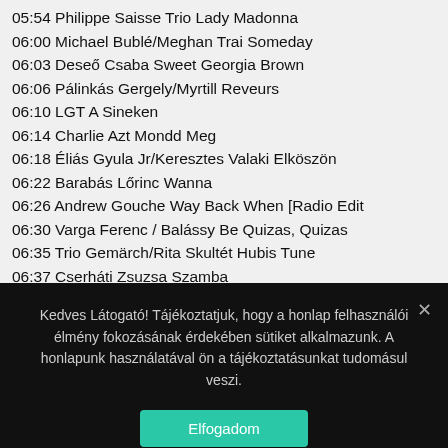05:54 Philippe Saisse Trio Lady Madonna
06:00 Michael Bublé/Meghan TraiSomeday
06:03 Deseő Csaba Sweet Georgia Brown
06:06 Pálinkás Gergely/Myrtill Reveurs
06:10 LGT A Sineken
06:14 Charlie Azt Mondd Meg
06:18 Éliás Gyula Jr/Keresztes Valaki Elköszön
06:22 Barabás Lőrinc Wanna
06:26 Andrew Gouche Way Back When [Radio Edit
06:30 Varga Ferenc / Balássy BeQuizas, Quizas
06:35 Trio Gemärch/Rita SkultétHubis Tune
06:37 Cserháti Zsuzsa Szamba
06:39 Sárik Péter/Palya Bea/Luilgaz-E Az Igazi?
Kedves Látogató! Tájékoztatjuk, hogy a honlap felhasználói élmény fokozásának érdekében sütiket alkalmazunk. A honlapunk használatával ön a tájékoztatásunkat tudomásul veszi.
Elfogadom